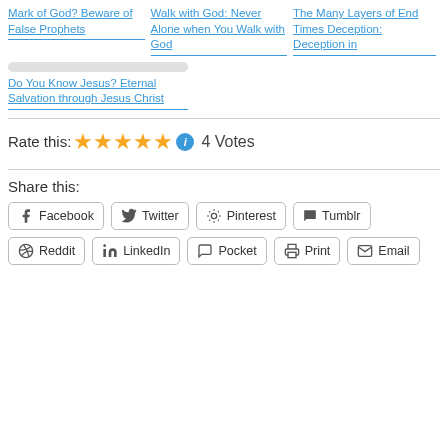Mark of God? Beware of False Prophets
Walk with God: Never Alone when You Walk with God
The Many Layers of End Times Deception: Deception in
Do You Know Jesus? Eternal Salvation through Jesus Christ
Rate this: ★★★★★ ℹ 4 Votes
Share this:
Facebook  Twitter  Pinterest  Tumblr  Reddit  LinkedIn  Pocket  Print  Email